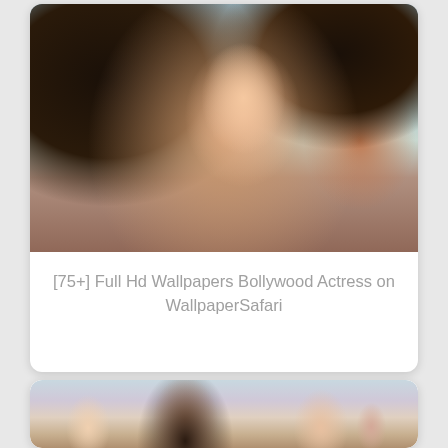[Figure (photo): Close-up photo of a Bollywood actress with dark flowing hair, smiling, wearing colorful clothing and earrings]
[75+] Full Hd Wallpapers Bollywood Actress on WallpaperSafari
[Figure (photo): Photo of Bollywood actress with dark hair in updo, with other actresses visible in background]